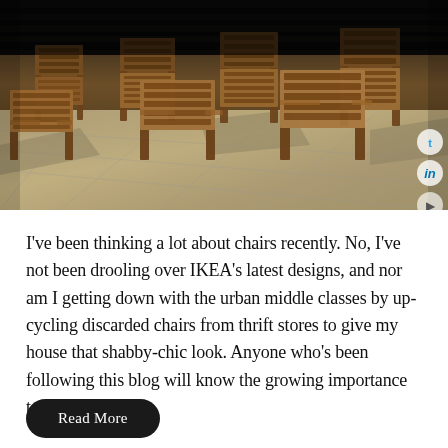[Figure (photo): A photograph of multiple wooden chairs with slatted seats and backs arranged in rows on a tiled floor, viewed from above at an angle. The chairs appear to be in a public or institutional space.]
I've been thinking a lot about chairs recently. No, I've not been drooling over IKEA's latest designs, and nor am I getting down with the urban middle classes by up-cycling discarded chairs from thrift stores to give my house that shabby-chic look. Anyone who's been following this blog will know the growing importance to my work of. . .
Read More